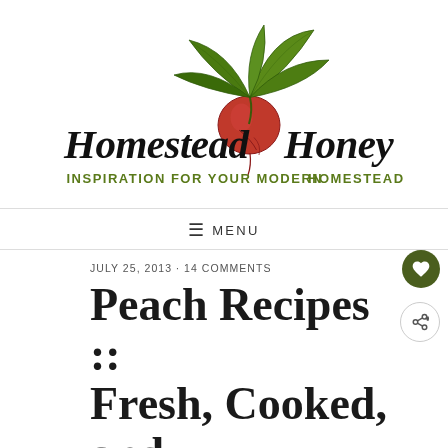[Figure (logo): Homestead Honey logo with illustrated beet/radish and green leaves above the text. Text reads 'Homestead Honey' in stylized script with tagline 'INSPIRATION FOR YOUR MODERN HOMESTEAD' in green capitals below.]
≡ MENU
JULY 25, 2013 · 14 COMMENTS
Peach Recipes :: Fresh, Cooked, and